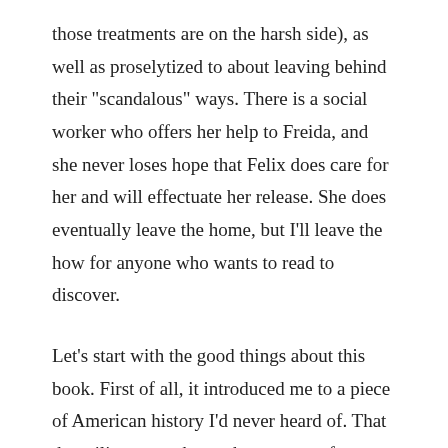those treatments are on the harsh side), as well as proselytized to about leaving behind their "scandalous" ways. There is a social worker who offers her help to Freida, and she never loses hope that Felix does care for her and will effectuate her release. She does eventually leave the home, but I'll leave the how for anyone who wants to read to discover.
Let's start with the good things about this book. First of all, it introduced me to a piece of American history I'd never heard of. That the military members who were as often as not the source of the diseases the girls had were able to